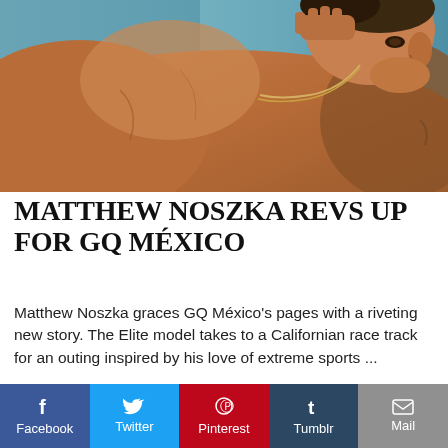[Figure (photo): Shirtless athletic male model (Matthew Noszka) leaning forward, wearing a gold chain necklace, against a blue sky background.]
MATTHEW NOSZKA REVS UP FOR GQ MÉXICO
Matthew Noszka graces GQ México's pages with a riveting new story. The Elite model takes to a Californian race track for an outing inspired by his love of extreme sports ...
Read More
f Facebook  Twitter  Pinterest  t Tumblr  Mail